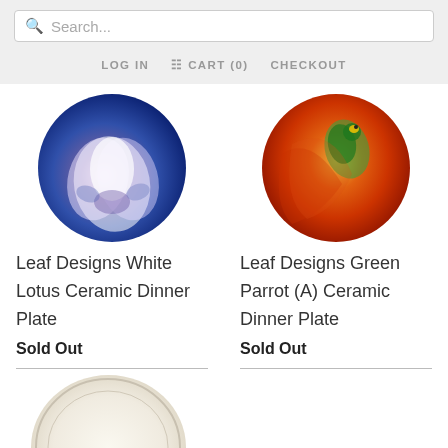Search...
LOG IN  CART (0)  CHECKOUT
[Figure (photo): Circular ceramic dinner plate with white lotus flower on blue background]
[Figure (photo): Circular ceramic dinner plate with green parrot on orange/red background]
Leaf Designs White Lotus Ceramic Dinner Plate
Sold Out
Leaf Designs Green Parrot (A) Ceramic Dinner Plate
Sold Out
[Figure (photo): Circular ceramic dinner plate with floral/rose design on cream background]